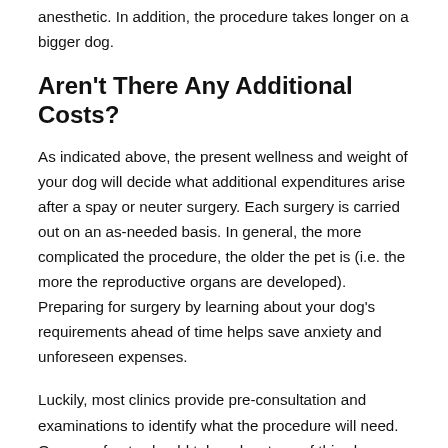anesthetic. In addition, the procedure takes longer on a bigger dog.
Aren't There Any Additional Costs?
As indicated above, the present wellness and weight of your dog will decide what additional expenditures arise after a spay or neuter surgery. Each surgery is carried out on an as-needed basis. In general, the more complicated the procedure, the older the pet is (i.e. the more the reproductive organs are developed). Preparing for surgery by learning about your dog's requirements ahead of time helps save anxiety and unforeseen expenses.
Luckily, most clinics provide pre-consultation and examinations to identify what the procedure will need. Owners of pets should take advantage of this chance to get acquainted with the physician who will be operating on their beloved companion.
The price of a pregnant or in-heat dog may even soar up to $50 to $150. Obese dogs might necessitate specialized equipment, which may be quite expensive. The price to neuter a dog might rise by